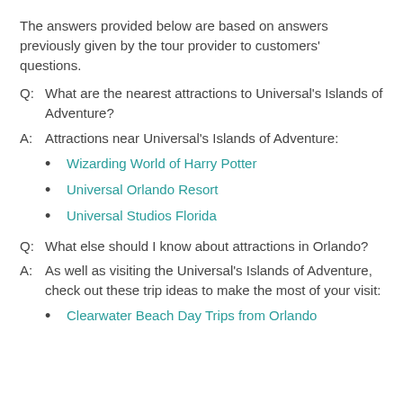The answers provided below are based on answers previously given by the tour provider to customers' questions.
Q:  What are the nearest attractions to Universal's Islands of Adventure?
A:  Attractions near Universal's Islands of Adventure:
Wizarding World of Harry Potter
Universal Orlando Resort
Universal Studios Florida
Q:  What else should I know about attractions in Orlando?
A:  As well as visiting the Universal's Islands of Adventure, check out these trip ideas to make the most of your visit:
Clearwater Beach Day Trips from Orlando